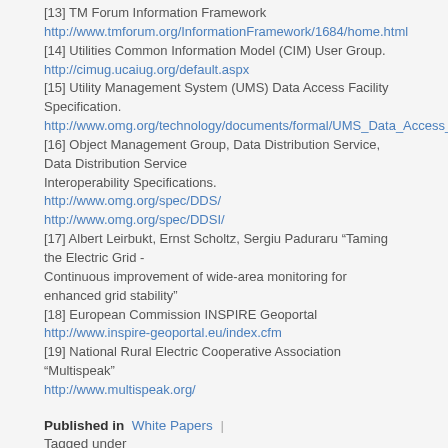[13] TM Forum Information Framework http://www.tmforum.org/InformationFramework/1684/home.html
[14] Utilities Common Information Model (CIM) User Group. http://cimug.ucaiug.org/default.aspx
[15] Utility Management System (UMS) Data Access Facility Specification. http://www.omg.org/technology/documents/formal/UMS_Data_Access_Facility.ht
[16] Object Management Group, Data Distribution Service, Data Distribution Service Interoperability Specifications. http://www.omg.org/spec/DDS/ http://www.omg.org/spec/DDSI/
[17] Albert Leirbukt, Ernst Scholtz, Sergiu Paduraru “Taming the Electric Grid - Continuous improvement of wide-area monitoring for enhanced grid stability”
[18] European Commission INSPIRE Geoportal http://www.inspire-geoportal.eu/index.cfm
[19] National Rural Electric Cooperative Association “Multispeak” http://www.multispeak.org/
Published in  White Papers  | Tagged under
energy
smart grid
utilities cim
energy reporting
Read more...